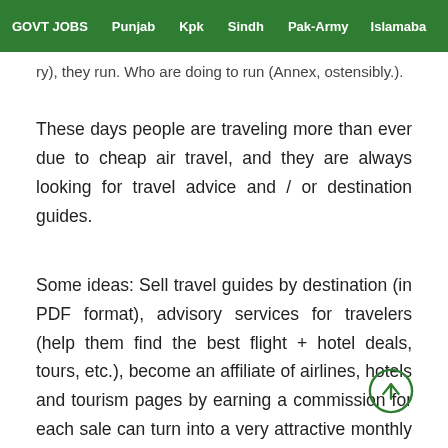GOVT JOBS  Punjab  Kpk  Sindh  Pak-Army  Islamabad
ry), they run. Who are doing to run (Annex, ostensibly.
These days people are traveling more than ever due to cheap air travel, and they are always looking for travel advice and / or destination guides.
Some ideas: Sell travel guides by destination (in PDF format), advisory services for travelers (help them find the best flight + hotel deals, tours, etc.), become an affiliate of airlines, hotels and tourism pages by earning a commission for each sale can turn into a very attractive monthly income.